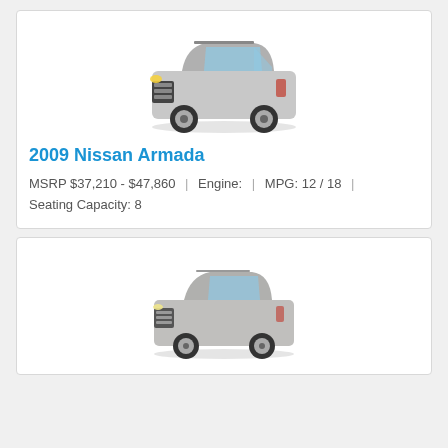[Figure (photo): 2009 Nissan Armada SUV, silver, front 3/4 view on white background]
2009 Nissan Armada
MSRP $37,210 - $47,860 | Engine: | MPG: 12 / 18 | Seating Capacity: 8
[Figure (photo): Silver SUV (Toyota 4Runner style), front 3/4 view on white background]